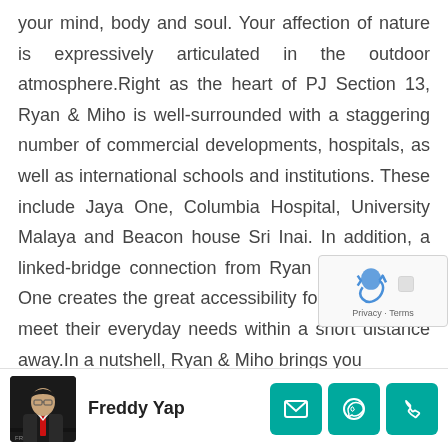your mind, body and soul. Your affection of nature is expressively articulated in the outdoor atmosphere.Right as the heart of PJ Section 13, Ryan & Miho is well-surrounded with a staggering number of commercial developments, hospitals, as well as international schools and institutions. These include Jaya One, Columbia Hospital, University Malaya and Beacon house Sri Inai. In addition, a linked-bridge connection from Ryan & Miho to Ja One creates the great accessibility for the reside to meet their everyday needs within a short distance away.In a nutshell, Ryan & Miho brings you
[Figure (photo): reCAPTCHA widget overlay with robot icon and Privacy/Terms links]
[Figure (photo): Agent photo of Freddy Yap in dark suit with red tie on black background]
Freddy Yap
[Figure (infographic): Three teal contact buttons: email (envelope icon), WhatsApp (phone icon), phone (handset icon)]